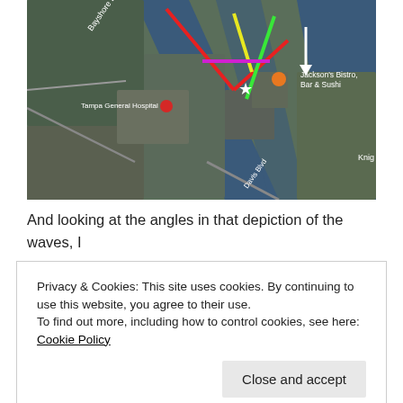[Figure (map): Aerial/satellite map view of Tampa area showing Hillsborough Bay with Davis Island and Tampa General Hospital visible. Colored lines (red, yellow, green, magenta, white arrow) are overlaid on the water indicating wave directions or wind vectors. Labels visible: 'Bayshore Blvd', 'Tampa General Hospital', 'Jackson's Bistro, Bar & Sushi', 'Davis Blvd', 'Knig'. A white star marker and orange circle marker are shown on the water.]
And looking at the angles in that depiction of the waves, I
Privacy & Cookies: This site uses cookies. By continuing to use this website, you agree to their use.
To find out more, including how to control cookies, see here: Cookie Policy
Close and accept